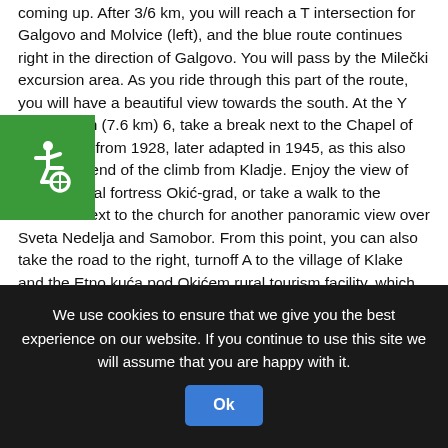coming up. After 3/6 km, you will reach a T intersection for Galgovo and Molvice (left), and the blue route continues right in the direction of Galgovo. You will pass by the Milečki excursion area. As you ride through this part of the route, you will have a beautiful view towards the south. At the Y intersection (7.6 km) 6, take a break next to the Chapel of St. Joseph from 1928, later adapted in 1945, as this also marks the end of the climb from Kladje. Enjoy the view of the medieval fortress Okić-grad, or take a walk to the meadow next to the church for another panoramic view over Sveta Nedelja and Samobor. From this point, you can also take the road to the right, turnoff A to the village of Klake and the Etno kuća pod Okićem rural tourism facility, which are not far off. This turnoff will also take you to the Dr. Maks Plotnikov – Okić mountain lodge and to the ruins of the medieval fortress Okić-grad. The blue route continues left at the intersection, along the main road for Galgovo, with a light and pleasant descent in the direction of Galgovo. The road will take you along meadows, houses, forests and the village Falaščak, to the T intersection 10 km from the start of the route 7, where you will keep to the left, as the road
[Figure (other): Green square accessibility icon with wheelchair symbol in white]
We use cookies to ensure that we give you the best experience on our website. If you continue to use this site we will assume that you are happy with it. Ok